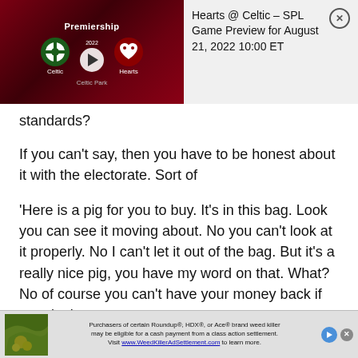[Figure (screenshot): Sports video thumbnail showing Hearts @ Celtic Premiership matchup with team logos, play button, and Celtic Park venue label on dark red background]
Hearts @ Celtic – SPL Game Preview for August 21, 2022 10:00 ET
standards?
If you can't say, then you have to be honest about it with the electorate. Sort of
'Here is a pig for you to buy. It's in this bag. Look you can see it moving about. No you can't look at it properly. No I can't let it out of the bag. But it's a really nice pig, you have my word on that. What? No of course you can't have your money back if you don't
[Figure (screenshot): Advertisement banner: Purchasers of certain Roundup®, HDX®, or Ace® brand weed killer may be eligible for a cash payment from a class action settlement. Visit www.WeedKillerAdSettlement.com to learn more.]